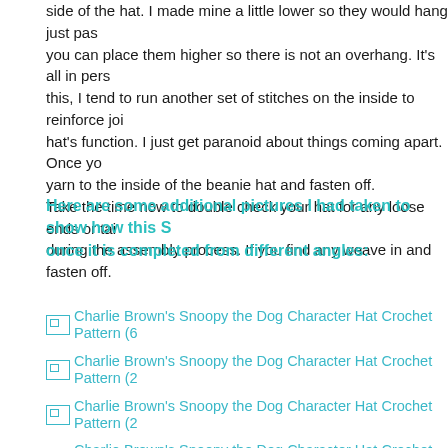side of the hat. I made mine a little lower so they would hang just past you can place them higher so there is not an overhang. It's all in pers this, I tend to run another set of stitches on the inside to reinforce joi hat's function. I just get paranoid about things coming apart. Once yo yarn to the inside of the beanie hat and fasten off. Take the time now to double check your hat for any loose ends or tai during the assembly process. If you find any weave in and fasten off.
Here are some additional pictures I had taken to show how this S once it is completed from different angles:
[Figure (photo): Charlie Brown's Snoopy the Dog Character Hat Crochet Pattern (6...)]
[Figure (photo): Charlie Brown's Snoopy the Dog Character Hat Crochet Pattern (2...)]
[Figure (photo): Charlie Brown's Snoopy the Dog Character Hat Crochet Pattern (2...)]
[Figure (photo): Charlie Brown's Snoopy the Dog Character Hat Crochet Pattern (1...)]
[Figure (photo): Charlie Brown's Snoopy the Dog Character Hat Crochet Pattern (1...)]